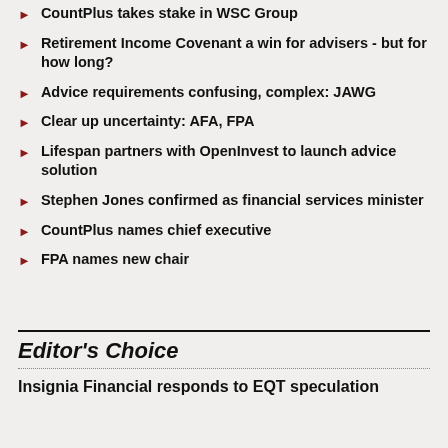CountPlus takes stake in WSC Group
Retirement Income Covenant a win for advisers - but for how long?
Advice requirements confusing, complex: JAWG
Clear up uncertainty: AFA, FPA
Lifespan partners with OpenInvest to launch advice solution
Stephen Jones confirmed as financial services minister
CountPlus names chief executive
FPA names new chair
Editor's Choice
Insignia Financial responds to EQT speculation